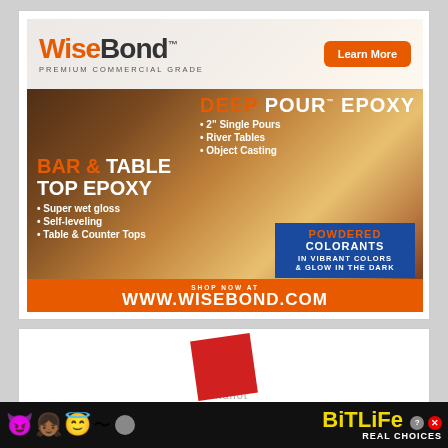[Figure (advertisement): WiseBond Premium Commercial Grade Deep Pour Epoxy and Bar & Table Top Epoxy advertisement with wood background images. Features Learn More button, bullet points for 2" Single Pours, River Tables, Object Casting, Super wet gloss, Self-leveling, Table & Counter Tops. Also shows Powdered Colorants in Vibrant Colors & Glow In The Dark. Bottom orange bar: SHOP NOW AT WWW.WISEBOND.COM]
[Figure (advertisement): Fontanot advertisement showing a red rotated square logo and the word fontanot in gray]
[Figure (advertisement): BitLife mobile game advertisement with devil, girl, and angel emojis. Text: BitLife REAL CHOICES on black background]